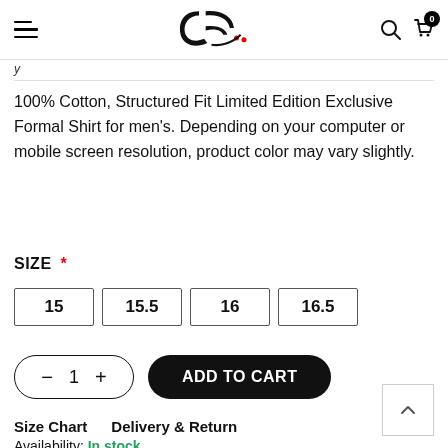Navigation header with hamburger menu, logo, search and cart (0 items)
100% Cotton, Structured Fit Limited Edition Exclusive Formal Shirt for men's. Depending on your computer or mobile screen resolution, product color may vary slightly.
SIZE *
15  15.5  16  16.5
- 1 + ADD TO CART
Size Chart   Delivery & Return
Availability: In stock